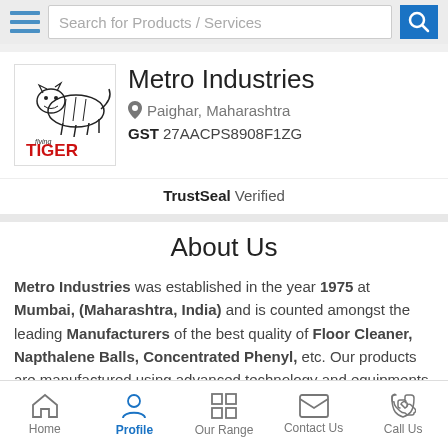[Figure (screenshot): Search bar with hamburger menu icon and search button]
[Figure (logo): Flying Tiger logo with tiger illustration and red TIGER text]
Metro Industries
Paighar, Maharashtra
GST 27AACPS8908F1ZG
TrustSeal Verified
About Us
Metro Industries was established in the year 1975 at Mumbai, (Maharashtra, India) and is counted amongst the leading Manufacturers of the best quality of Floor Cleaner, Napthalene Balls, Concentrated Phenyl, etc. Our products are manufactured using advanced technology and equipments. They are highly favored by our clients over other products because they are safe to use, have no... effects and can be stored
[Figure (screenshot): Bottom navigation bar with Home, Profile (active), Our Range, Contact Us, Call Us icons]